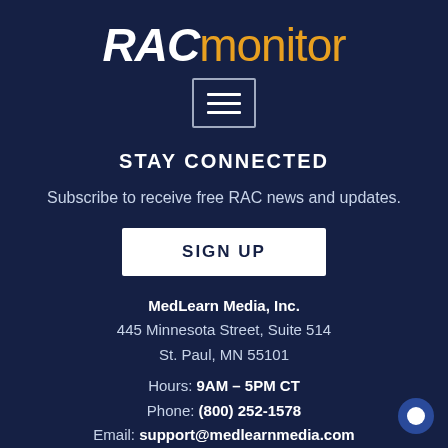[Figure (logo): RAC monitor logo — RAC in bold white italic, monitor in gold/orange regular weight]
[Figure (other): Hamburger menu icon: three horizontal white lines inside a rounded rectangle border]
STAY CONNECTED
Subscribe to receive free RAC news and updates.
[Figure (other): SIGN UP button — white rectangle with dark navy bold text]
MedLearn Media, Inc.
445 Minnesota Street, Suite 514
St. Paul, MN 55101
Hours: 9AM – 5PM CT
Phone: (800) 252-1578
Email: support@medlearnmedia.com